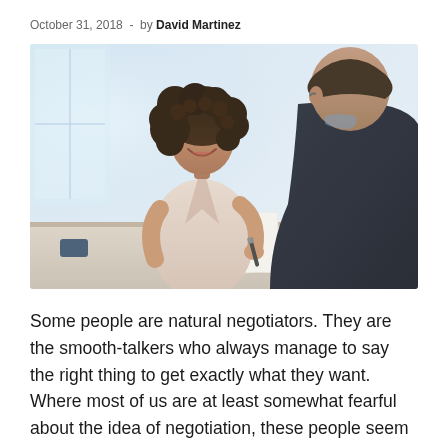October 31, 2018 - by David Martinez
[Figure (photo): Two people sitting across a table in a professional meeting or negotiation setting. A woman with curly hair wearing a light pink wrap top is smiling and gesturing with a pen toward a man in a dark suit whose back is to the camera. Documents and a tablet are on the table.]
Some people are natural negotiators. They are the smooth-talkers who always manage to say the right thing to get exactly what they want. Where most of us are at least somewhat fearful about the idea of negotiation, these people seem to enjoy it.